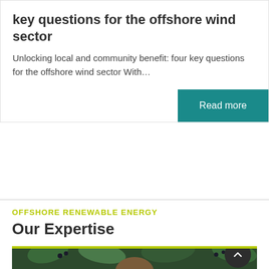key questions for the offshore wind sector
Unlocking local and community benefit: four key questions for the offshore wind sector With…
Read more
OFFSHORE RENEWABLE ENERGY
Our Expertise
[Figure (photo): A person with curly hair photographed outdoors among green leafy plants and dark berries]